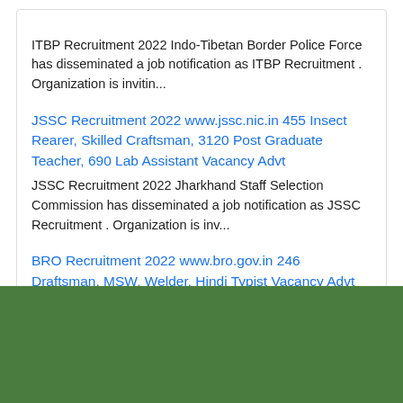ITBP Recruitment 2022 Indo-Tibetan Border Police Force has disseminated a job notification as ITBP Recruitment . Organization is invitin...
JSSC Recruitment 2022 www.jssc.nic.in 455 Insect Rearer, Skilled Craftsman, 3120 Post Graduate Teacher, 690 Lab Assistant Vacancy Advt
JSSC Recruitment 2022 Jharkhand Staff Selection Commission has disseminated a job notification as JSSC Recruitment . Organization is inv...
BRO Recruitment 2022 www.bro.gov.in 246 Draftsman, MSW, Welder, Hindi Typist Vacancy Advt
BRO Recruitment 2022 Border Roads Organisation has disseminated a job notification as BRO Recruitment . Organization is inviting applica...